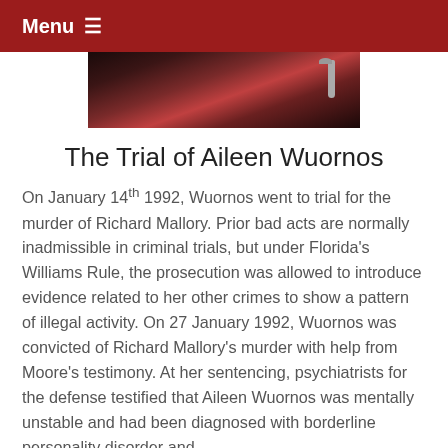Menu ≡
[Figure (photo): Dark-toned photo showing a person in a red top near a microphone, against a dark background.]
The Trial of Aileen Wuornos
On January 14th 1992, Wuornos went to trial for the murder of Richard Mallory. Prior bad acts are normally inadmissible in criminal trials, but under Florida's Williams Rule, the prosecution was allowed to introduce evidence related to her other crimes to show a pattern of illegal activity. On 27 January 1992, Wuornos was convicted of Richard Mallory's murder with help from Moore's testimony. At her sentencing, psychiatrists for the defense testified that Aileen Wuornos was mentally unstable and had been diagnosed with borderline personality disorder and